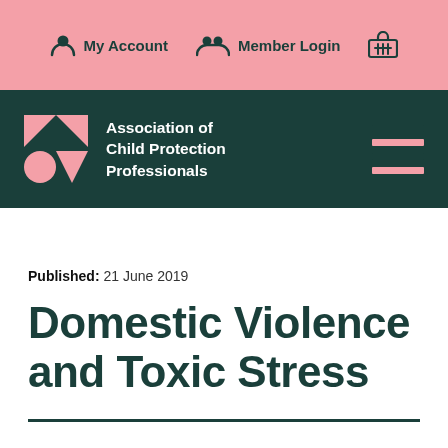My Account  Member Login
[Figure (logo): Association of Child Protection Professionals logo with geometric icon and organization name in white on dark teal background, with hamburger menu icon on the right]
Published: 21 June 2019
Domestic Violence and Toxic Stress